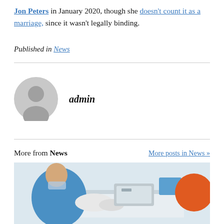Jon Peters in January 2020, though she doesn't count it as a marriage, since it wasn't legally binding.
Published in News
admin
More from News   More posts in News »
[Figure (photo): Photo of a person in a blue shirt and white gloves working at a medical or lab counter with equipment and an orange object visible.]